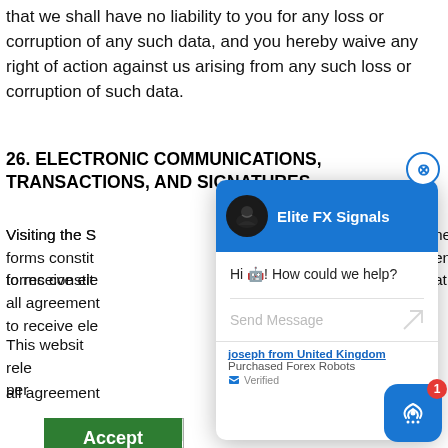that we shall have no liability to you for any loss or corruption of any such data, and you hereby waive any right of action against us arising from any such loss or corruption of such data.
26. ELECTRONIC COMMUNICATIONS, TRANSACTIONS, AND SIGNATURES
Visiting the Site, sending us emails, and completing online forms constitute electronic communications. You consent to receive electronic communications, and you agree that all agreements...
This website... rele... per...
[Figure (screenshot): Elite FX Signals chat widget overlay with header, greeting message 'Hi 🤖! How could we help?', and a Send Message input field.]